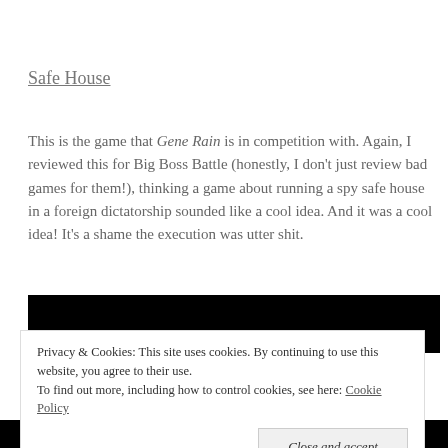Safe House
This is the game that Gene Rain is in competition with. Again, I reviewed this for Big Boss Battle (honestly, I don't just review bad games for them!), thinking a game about running a spy safe house in a foreign dictatorship sounded like a cool idea. And it was a cool idea! It's a shame the execution was utter shit.
[Figure (photo): Black image / screenshot area]
Privacy & Cookies: This site uses cookies. By continuing to use this website, you agree to their use.
To find out more, including how to control cookies, see here: Cookie Policy
Close and accept